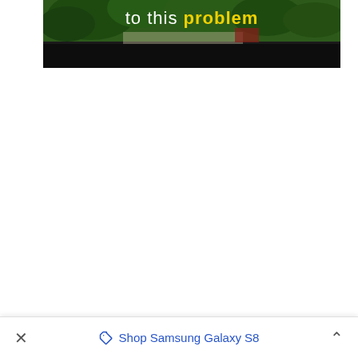[Figure (screenshot): Partial screenshot of a video or webpage showing a dark scene with greenery and text overlay reading 'to this problem' where 'problem' is in bold yellow and 'to this' is in white, on a dark/black background at the bottom of the image.]
Shop Samsung Galaxy S8
× Shop Samsung Galaxy S8 ∧